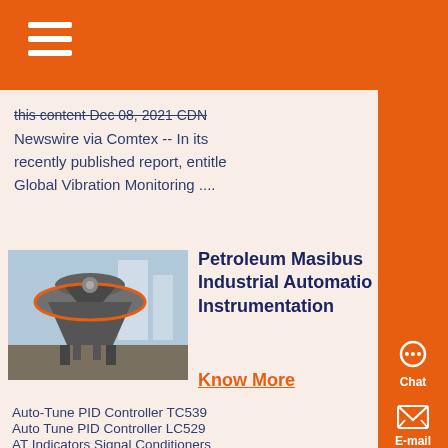this content Dec 08, 2021 CDN Newswire via Comtex -- In its recently published report, entitled Global Vibration Monitoring ....
[Figure (photo): Industrial cone crusher or similar heavy mining/petroleum equipment on a factory floor]
Petroleum Masibus Industrial Automation Instrumentation
Know More
Auto-Tune PID Controller TC539
Auto Tune PID Controller LC529
AT Indicators Signal Conditioners